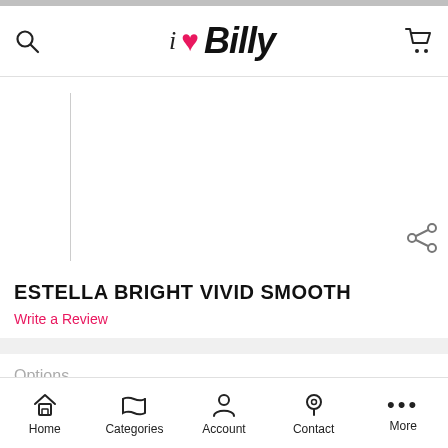[Figure (screenshot): Mobile app screenshot of i love Billy shoe store product page showing ESTELLA BRIGHT VIVID SMOOTH product]
i ♥ Billy
ESTELLA BRIGHT VIVID SMOOTH
Write a Review
Options
Info
Home   Categories   Account   Contact   More